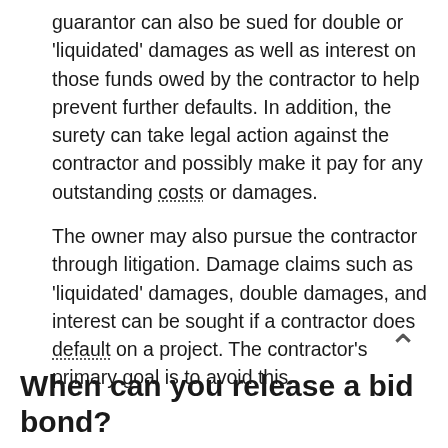guarantor can also be sued for double or 'liquidated' damages as well as interest on those funds owed by the contractor to help prevent further defaults. In addition, the surety can take legal action against the contractor and possibly make it pay for any outstanding costs or damages.
The owner may also pursue the contractor through litigation. Damage claims such as 'liquidated' damages, double damages, and interest can be sought if a contractor does default on a project. The contractor's primary goal is to avoid this.
When can you release a bid bond?